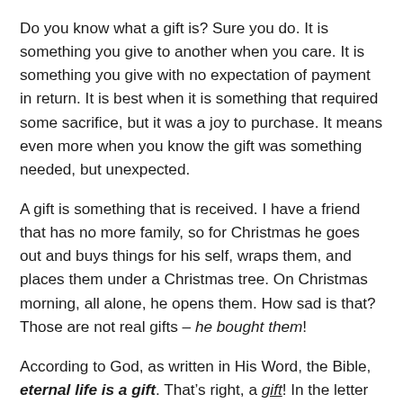Do you know what a gift is? Sure you do. It is something you give to another when you care. It is something you give with no expectation of payment in return. It is best when it is something that required some sacrifice, but it was a joy to purchase. It means even more when you know the gift was something needed, but unexpected.
A gift is something that is received. I have a friend that has no more family, so for Christmas he goes out and buys things for his self, wraps them, and places them under a Christmas tree. On Christmas morning, all alone, he opens them. How sad is that? Those are not real gifts – he bought them!
According to God, as written in His Word, the Bible, eternal life is a gift. That's right, a gift! In the letter to the Romans we read that the "gift of God is eternal life…"